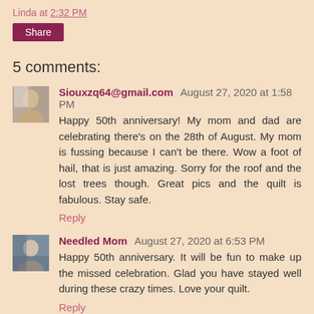Linda at 2:32 PM
Share
5 comments:
Siouxzq64@gmail.com August 27, 2020 at 1:58 PM
Happy 50th anniversary! My mom and dad are celebrating there's on the 28th of August. My mom is fussing because I can't be there. Wow a foot of hail, that is just amazing. Sorry for the roof and the lost trees though. Great pics and the quilt is fabulous. Stay safe.
Reply
Needled Mom August 27, 2020 at 6:53 PM
Happy 50th anniversary. It will be fun to make up the missed celebration. Glad you have stayed well during these crazy times. Love your quilt.
Reply